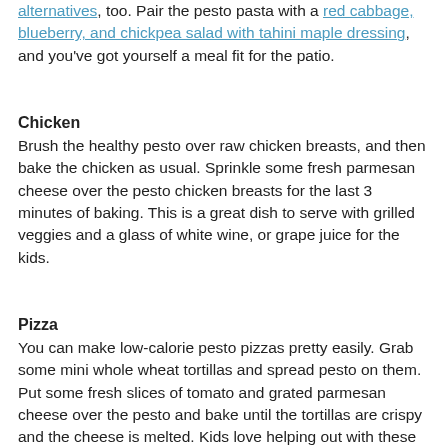alternatives, too. Pair the pesto pasta with a red cabbage, blueberry, and chickpea salad with tahini maple dressing, and you've got yourself a meal fit for the patio.
Chicken
Brush the healthy pesto over raw chicken breasts, and then bake the chicken as usual. Sprinkle some fresh parmesan cheese over the pesto chicken breasts for the last 3 minutes of baking. This is a great dish to serve with grilled veggies and a glass of white wine, or grape juice for the kids.
Pizza
You can make low-calorie pesto pizzas pretty easily. Grab some mini whole wheat tortillas and spread pesto on them. Put some fresh slices of tomato and grated parmesan cheese over the pesto and bake until the tortillas are crispy and the cheese is melted. Kids love helping out with these pizzas, so it's a great family activity.
What are your favorite ways to incorporate healthy pesto into your meals? I'd love to hear them! Write a comment below, or